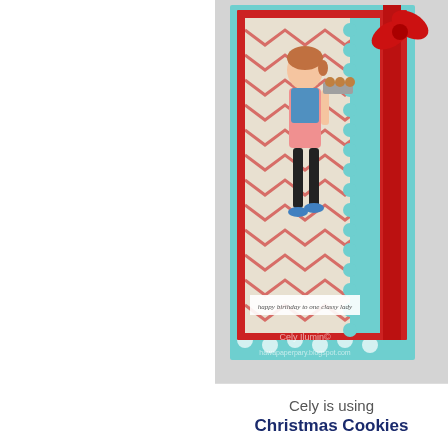[Figure (photo): A handmade greeting card with red and teal/aqua polka dot patterned paper, red ribbon bow at top right, and a stamped illustrated woman wearing a pink apron carrying a cookie tray. Card has chevron patterned paper panel and scalloped edge details. Text on card reads 'happy birthday to one classy lady'. Watermark text reads 'Cely Ilumin©' and 'hawapaperpary.blogspot.com'.]
Cely is using
Christmas Cookies